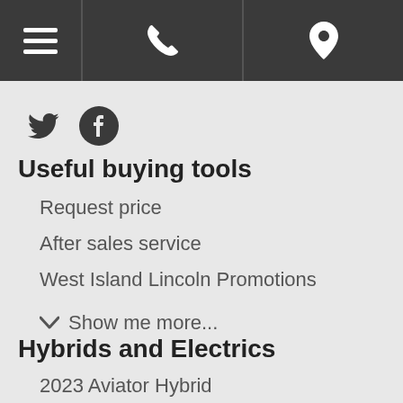[Navigation bar with hamburger menu, phone icon, and location pin icon]
[Figure (other): Twitter bird icon and Facebook circle icon side by side]
Useful buying tools
Request price
After sales service
West Island Lincoln Promotions
Show me more...
Hybrids and Electrics
2023 Aviator Hybrid
2022 Corsair Hybrid